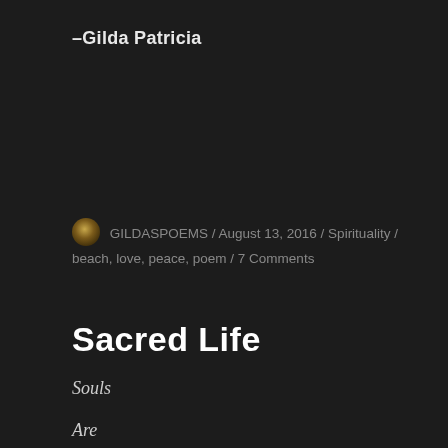-Gilda Patricia
GILDASPOEMS / August 13, 2016 / Spirituality / beach, love, peace, poem / 7 Comments
Sacred Life
Souls
Are